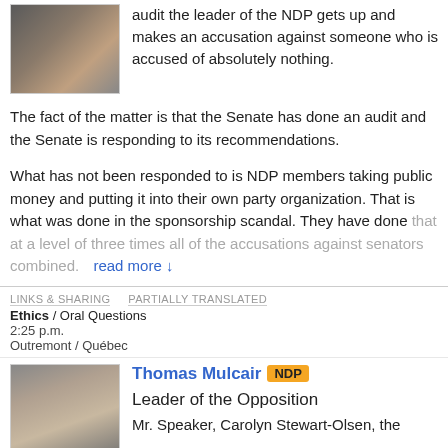[Figure (photo): Headshot of a man in a dark suit with a tie, against a dark background]
audit the leader of the NDP gets up and makes an accusation against someone who is accused of absolutely nothing.
The fact of the matter is that the Senate has done an audit and the Senate is responding to its recommendations.
What has not been responded to is NDP members taking public money and putting it into their own party organization. That is what was done in the sponsorship scandal. They have done that at a level of three times all of the accusations against senators combined.
read more ↓
LINKS & SHARING
PARTIALLY TRANSLATED
Ethics / Oral Questions
2:25 p.m.
Outremont / Québec
[Figure (photo): Headshot of Thomas Mulcair, an older man with grey hair, looking at the camera]
Thomas Mulcair NDP Leader of the Opposition
Mr. Speaker, Carolyn Stewart-Olsen, the